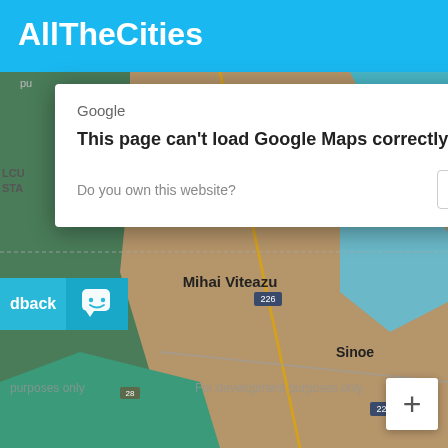[Figure (screenshot): Screenshot of AllTheCities website showing a Google Maps error dialog over a map background. The header shows the AllTheCities logo in white on a blue background. A Google Maps error dialog reads 'This page can't load Google Maps correctly.' with a prompt 'Do you own this website?' and an OK button. The map background shows an area including Mihai Viteazu and Sinoe locations with road 226 markers, and watermarked with 'For development purposes only'. A teal feedback button with a smiley icon is on the left side.]